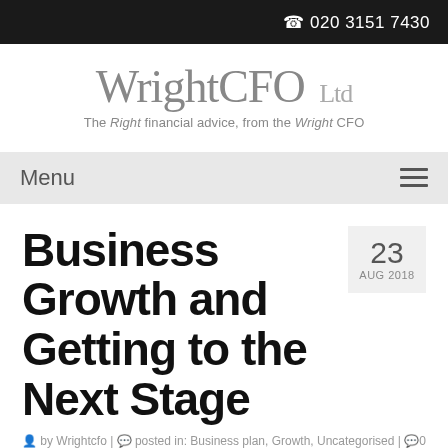☎ 020 3151 7430
[Figure (logo): WrightCFO Ltd logo with tagline: The Right financial advice, from the Wright CFO]
Menu
Business Growth and Getting to the Next Stage
23 AUG 2018
by Wrightcfo | posted in: Business plan, Growth, Uncategorised | 0